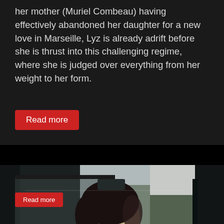her mother (Muriel Combeau) having effectively abandoned her daughter for a new love in Marseille, Lyz is already adrift before she is thrust into this challenging regime, where she is judged over everything from her weight to her form.
Read more
[Figure (photo): A young woman with short dark hair sitting in a car, viewed through and reflected in the car window. The scene is cinematic, moody and desaturated, with blurred green trees visible in the background through the passenger window.]
[Figure (other): Dark bottom bar with a red upward-pointing arrow/chevron icon on the right side.]